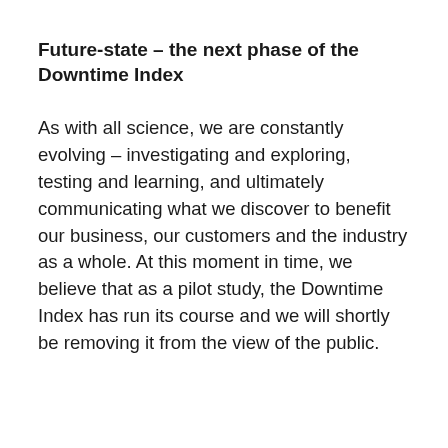Future-state – the next phase of the Downtime Index
As with all science, we are constantly evolving – investigating and exploring, testing and learning, and ultimately communicating what we discover to benefit our business, our customers and the industry as a whole. At this moment in time, we believe that as a pilot study, the Downtime Index has run its course and we will shortly be removing it from the view of the public.